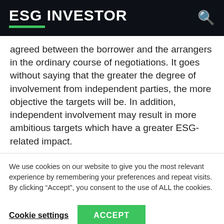ESG INVESTOR
agreed between the borrower and the arrangers in the ordinary course of negotiations. It goes without saying that the greater the degree of involvement from independent parties, the more objective the targets will be. In addition, independent involvement may result in more ambitious targets which have a greater ESG-related impact.
We use cookies on our website to give you the most relevant experience by remembering your preferences and repeat visits. By clicking “Accept”, you consent to the use of ALL the cookies.
Cookie settings   ACCEPT